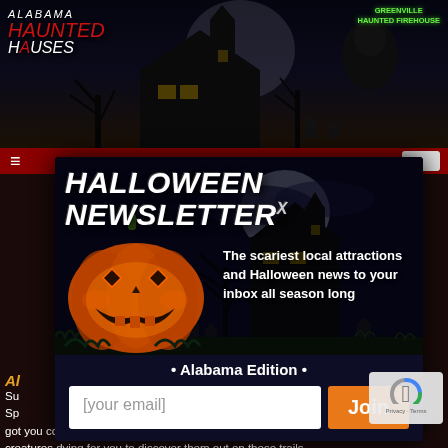[Figure (screenshot): Alabama Haunted Houses website header with logo, dark haunted house scene, and Greenville Haunted Firehouse label]
[Figure (screenshot): Halloween Newsletter modal popup with pumpkin image, spooky background, email signup form for Alabama Edition]
The scariest local attractions and Halloween news to your inbox all season long
• Alabama Edition •
[your email]
Join
Surrounded by all those... Spook Trails and Haunted Trail Corn Maizes about them, I've got you covered. There are a ton of real life ghosts and supernatural creatures dying for you to discover them out on these trails. farmers take pride in all that they can bring to Halloween, so why not explore some of their property, while entertaining yourself? Beyond the real life scares, there are a ton of installed zombies and creepy creatures waiting to take a stab at your bravery!